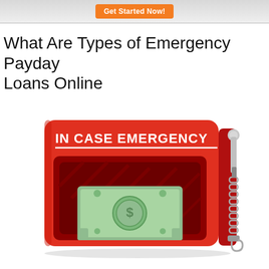Get Started Now!
What Are Types of Emergency Payday Loans Online
[Figure (illustration): Red emergency box illustration with text 'IN CASE EMERGENCY' in white bold letters on a red box containing a green dollar bill, with a hammer and chain on the right side.]